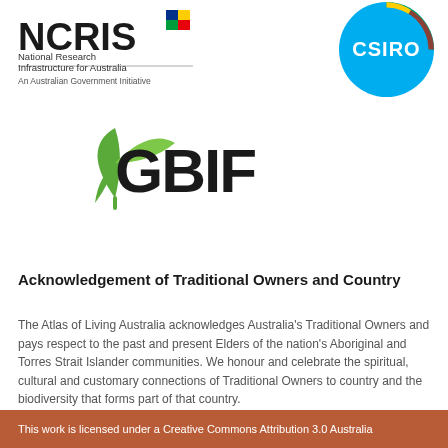[Figure (logo): NCRIS (National Research Infrastructure for Australia) logo with text 'National Research Infrastructure for Australia' and 'An Australian Government Initiative']
[Figure (logo): CSIRO circular teal/blue logo with colorful segments and white CSIRO text]
[Figure (logo): GBIF logo with green leaf/plant icon and bold black 'GBIF' text]
Acknowledgement of Traditional Owners and Country
The Atlas of Living Australia acknowledges Australia's Traditional Owners and pays respect to the past and present Elders of the nation's Aboriginal and Torres Strait Islander communities. We honour and celebrate the spiritual, cultural and customary connections of Traditional Owners to country and the biodiversity that forms part of that country.
This work is licensed under a Creative Commons Attribution 3.0 Australia